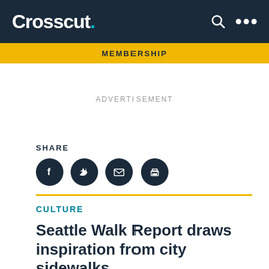Crosscut.
MEMBERSHIP
ADVERTISEMENT
SHARE
CULTURE
Seattle Walk Report draws inspiration from city sidewalks